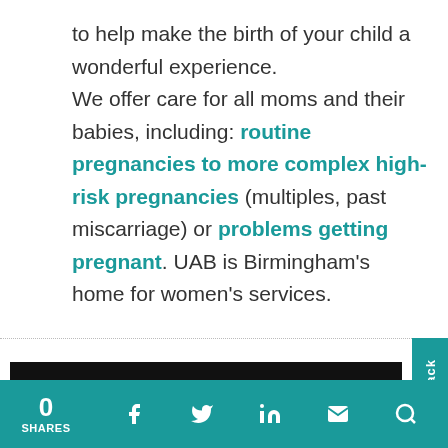to help make the birth of your child a wonderful experience. We offer care for all moms and their babies, including: routine pregnancies to more complex high-risk pregnancies (multiples, past miscarriage) or problems getting pregnant. UAB is Birmingham's home for women's services.
0 SHARES [Facebook] [Twitter] [LinkedIn] [Email] [Search] Feedback